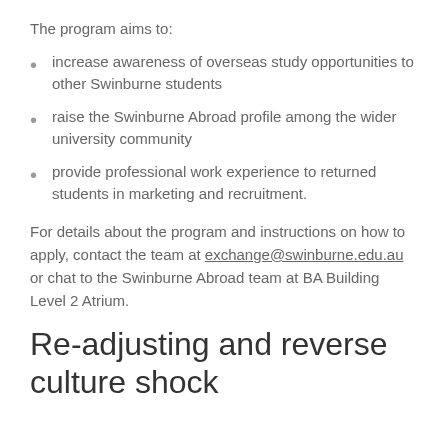The program aims to:
increase awareness of overseas study opportunities to other Swinburne students
raise the Swinburne Abroad profile among the wider university community
provide professional work experience to returned students in marketing and recruitment.
For details about the program and instructions on how to apply, contact the team at exchange@swinburne.edu.au or chat to the Swinburne Abroad team at BA Building Level 2 Atrium.
Re-adjusting and reverse culture shock